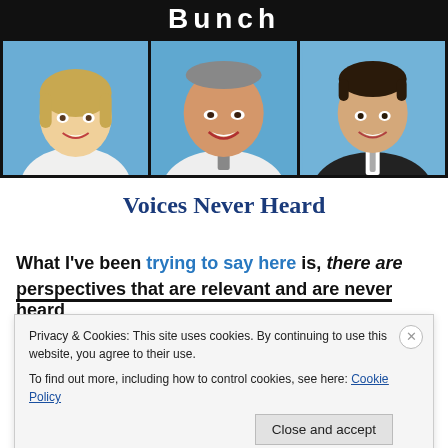[Figure (photo): Screenshot of a webpage showing a composite image with 'Bunch' text banner at top and three portrait photos of people (woman with blonde hair, heavyset man in white shirt, man in dark suit with tie) on blue backgrounds. Below is the title 'Voices Never Heard' and body text starting 'What I’ve been trying to say here is, there are perspectives that are relevant and are never heard'. A cookie consent banner overlays the lower portion.]
Voices Never Heard
What I’ve been trying to say here is, there are perspectives that are relevant and are never heard
Privacy & Cookies: This site uses cookies. By continuing to use this website, you agree to their use.
To find out more, including how to control cookies, see here: Cookie Policy